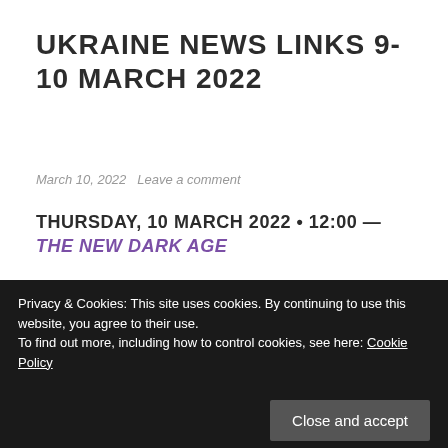UKRAINE NEWS LINKS 9-10 MARCH 2022
March 10, 2022   Leave a comment
THURSDAY, 10 MARCH 2022 • 12:00 — THE NEW DARK AGE
There may be some duplication due to cross-posting and may be updated throughout the day, so please check back. If it gets updated, I usually insert the time
Privacy & Cookies: This site uses cookies. By continuing to use this website, you agree to their use.
To find out more, including how to control cookies, see here: Cookie Policy
Close and accept